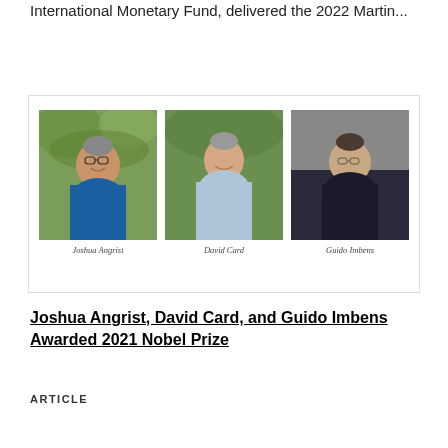International Monetary Fund, delivered the 2022 Martin...
[Figure (photo): Three headshot photos side by side: Joshua Angrist, David Card, and Guido Imbens]
Joshua Angrist, David Card, and Guido Imbens Awarded 2021 Nobel Prize
ARTICLE